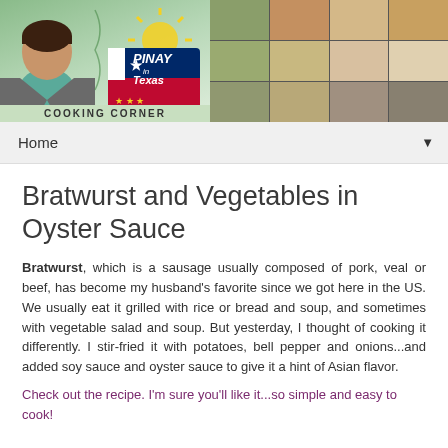[Figure (photo): Pinay in Texas Cooking Corner banner with woman on left, logo in center, and food photo collage on right]
Home
Bratwurst and Vegetables in Oyster Sauce
Bratwurst, which is a sausage usually composed of pork, veal or beef, has become my husband's favorite since we got here in the US. We usually eat it grilled with rice or bread and soup, and sometimes with vegetable salad and soup. But yesterday, I thought of cooking it differently. I stir-fried it with potatoes, bell pepper and onions...and added soy sauce and oyster sauce to give it a hint of Asian flavor.
Check out the recipe. I'm sure you'll like it...so simple and easy to cook!